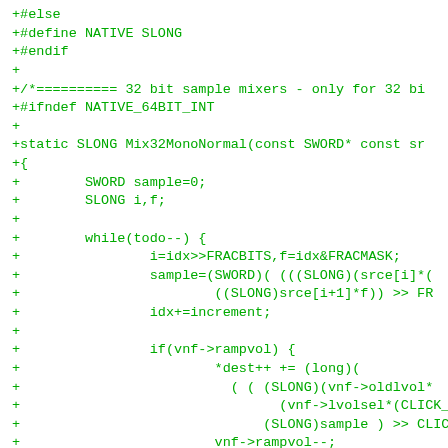+#else
+#define NATIVE SLONG
+#endif
+
+/*========== 32 bit sample mixers - only for 32 bi
+#ifndef NATIVE_64BIT_INT
+
+static SLONG Mix32MonoNormal(const SWORD* const sr
+{
+        SWORD sample=0;
+        SLONG i,f;
+
+        while(todo--) {
+                i=idx>>FRACBITS,f=idx&FRACMASK;
+                sample=(SWORD)( (((SLONG)(srce[i]*(
+                        ((SLONG)srce[i+1]*f)) >> FR
+                idx+=increment;
+
+                if(vnf->rampvol) {
+                        *dest++ += (long)(
+                          ( ( (SLONG)(vnf->oldlvol*
+                                (vnf->lvolsel*(CLICK_
+                              (SLONG)sample ) >> CLIC
+                        vnf->rampvol--;
+                } else
+                        if(vnf->click) {
+                                *dest++ += (long)(
+                                  ( ( ((SLONG)vnf->lvolsel*
+                                        (SLONG)sample ) +
+                                        (vnf->lastvalL*vnf->cli